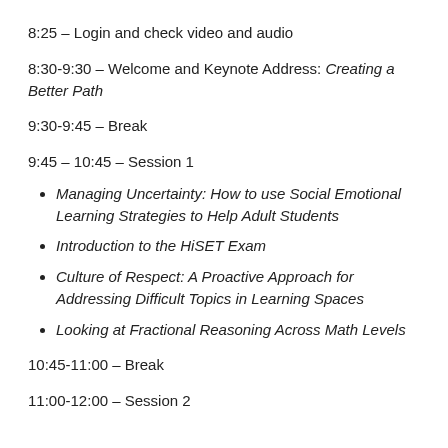8:25 – Login and check video and audio
8:30-9:30 – Welcome and Keynote Address: Creating a Better Path
9:30-9:45 – Break
9:45 – 10:45 – Session 1
Managing Uncertainty: How to use Social Emotional Learning Strategies to Help Adult Students
Introduction to the HiSET Exam
Culture of Respect: A Proactive Approach for Addressing Difficult Topics in Learning Spaces
Looking at Fractional Reasoning Across Math Levels
10:45-11:00 – Break
11:00-12:00 – Session 2